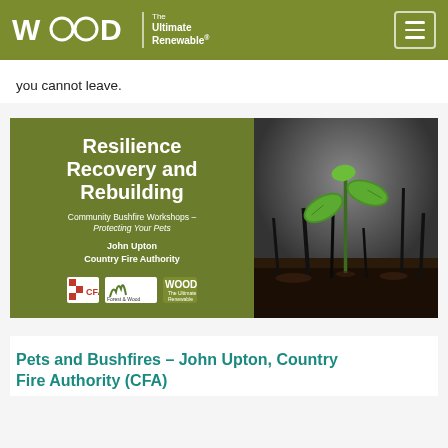WOOD The Ultimate Renewable
you cannot leave.
[Figure (illustration): A promotional banner for 'Resilience Recovery and Rebuilding – Community Bushfire Workshops – Protecting Your Pets' by John Upton, Country Fire Authority. The left panel is olive/green with white text and logos for CFA, Forest & Wood Products Australia, and WOOD The Ultimate Renewable. The right panel shows a green seedling sprouting from burnt ground.]
Pets and Bushfires – John Upton, Country Fire Authority (CFA)